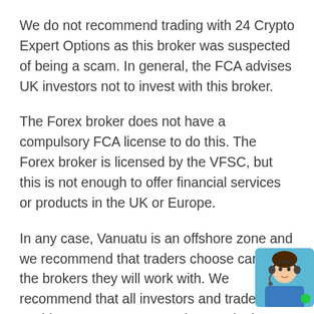We do not recommend trading with 24 Crypto Expert Options as this broker was suspected of being a scam. In general, the FCA advises UK investors not to invest with this broker.
The Forex broker does not have a compulsory FCA license to do this. The Forex broker is licensed by the VFSC, but this is not enough to offer financial services or products in the UK or Europe.
In any case, Vanuatu is an offshore zone and we recommend that traders choose carefully the brokers they will work with. We recommend that all investors and traders avoid 24 Crypto Expert Options and other Vanuatu brokers. If you are interested trading foreign exchange, cryptocurrency, CFDs, commodities, paying close attention to the broker
[Figure (photo): Customer support agent photo — woman wearing a headset, partially overlapping the last paragraph text, positioned at bottom right]